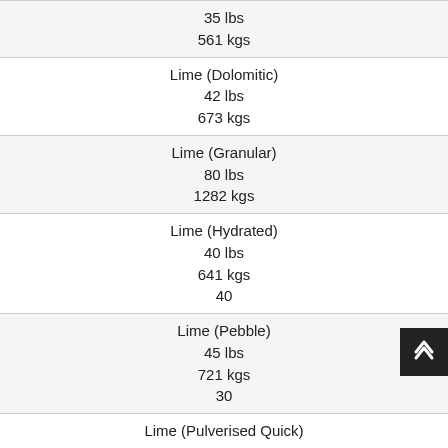| 35 lbs
561 kgs |
| Lime (Dolomitic)
42 lbs
673 kgs |
| Lime (Granular)
80 lbs
1282 kgs |
| Lime (Hydrated)
40 lbs
641 kgs
40 |
| Lime (Pebble)
45 lbs
721 kgs
30 |
| Lime (Pulverised Quick) |